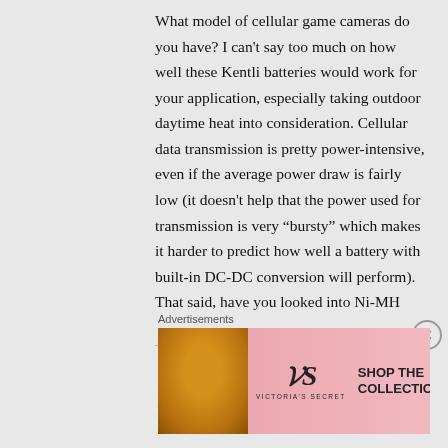What model of cellular game cameras do you have? I can't say too much on how well these Kentli batteries would work for your application, especially taking outdoor daytime heat into consideration. Cellular data transmission is pretty power-intensive, even if the average power draw is fairly low (it doesn't help that the power used for transmission is very “bursty” which makes it harder to predict how well a battery with built-in DC-DC conversion will perform). That said, have you looked into Ni-MH
Advertisements
[Figure (photo): Victoria's Secret advertisement banner with a model, VS logo, 'SHOP THE COLLECTION' text, and 'SHOP NOW' button]